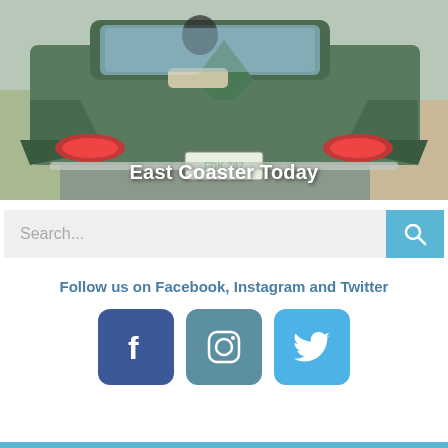[Figure (photo): Rear view of a classic green 1959 Chevrolet car with distinctive tail fins, red taillights, and a license plate reading FDK 337, driving on a road. Text overlay reads 'East Coaster Today'.]
East Coaster Today
Search...
Follow us on Facebook, Instagram and Twitter
[Figure (logo): Facebook logo icon (white F on dark blue rounded square)]
[Figure (logo): Instagram logo icon (white camera outline on teal rounded square)]
[Figure (logo): Twitter logo icon (white bird on light blue rounded square)]